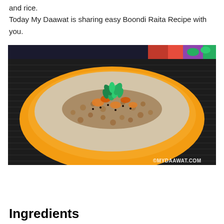and rice. Today My Daawat is sharing easy Boondi Raita Recipe with you.
[Figure (photo): A yellow bowl filled with Boondi Raita (yogurt with boondi balls) topped with green coriander leaves and spices, on a dark surface. Watermark: ©MYDAAWAT.COM]
Ingredients